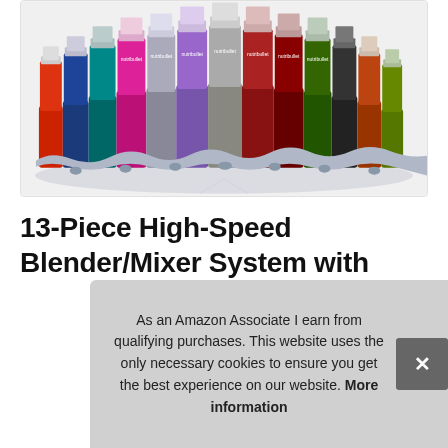[Figure (photo): Multiple NutriBullet Pro blenders in various colors (blue, teal, pink, white, purple, gray, red, dark red, green, black) arranged in a fan/arc display on gray bases against a white background.]
13-Piece High-Speed Blender/Mixer System with Hardcover Recipe Book Included 900 Watts, NutriBullet Pro
#ad
As an Amazon Associate I earn from qualifying purchases. This website uses the only necessary cookies to ensure you get the best experience on our website. More information